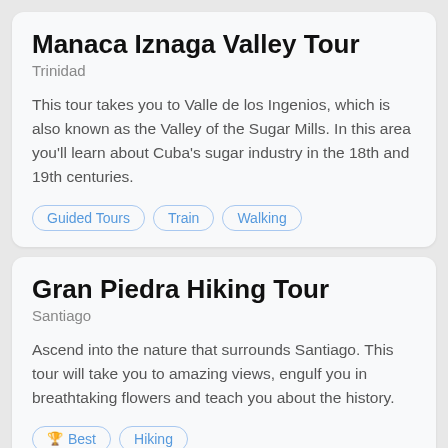Manaca Iznaga Valley Tour
Trinidad
This tour takes you to Valle de los Ingenios, which is also known as the Valley of the Sugar Mills. In this area you'll learn about Cuba's sugar industry in the 18th and 19th centuries.
Guided Tours
Train
Walking
Gran Piedra Hiking Tour
Santiago
Ascend into the nature that surrounds Santiago. This tour will take you to amazing views, engulf you in breathtaking flowers and teach you about the history.
Best
Hiking
Varadero City, Catamaran Ride, and Snorkeling Tour ,